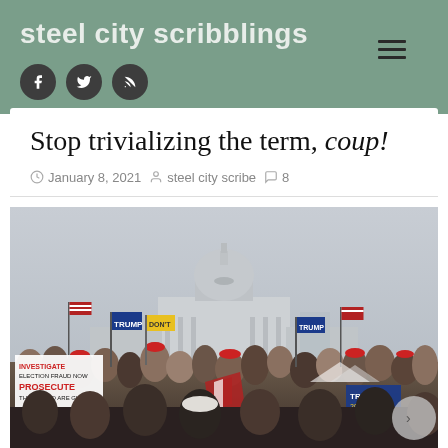steel city scribblings
Stop trivializing the term, coup!
January 8, 2021  steel city scribe  8
[Figure (photo): Large crowd gathered outside the US Capitol building on January 6, 2021, with flags, signs including 'Investigate Election Fraud Now PROSECUTE those who are guilty', Trump flags, and American flags. The Capitol dome is visible in the background under an overcast sky.]